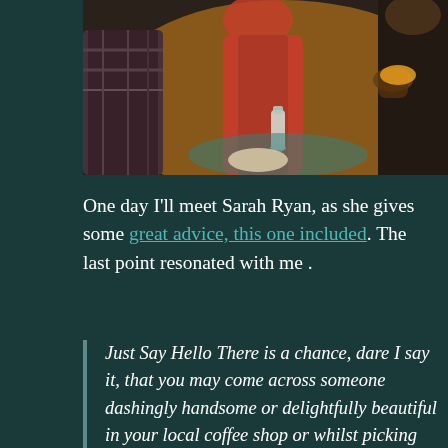[Figure (photo): Photo of people seated at a social gathering or event, with one person in a pink/red shirt and another in dark clothing, a water bottle visible on the table, taken in a dimly lit venue.]
One day I'll meet Sarah Ryan, as she gives some great advice, this one included. The last point resonated with me .
Just Say Hello There is a chance, dare I say it, that you may come across someone dashingly handsome or delightfully beautiful in your local coffee shop or whilst picking up a loaf of bread at Waitrose. What is the worst that can happen if you just say hello, ask for the time or ask where they